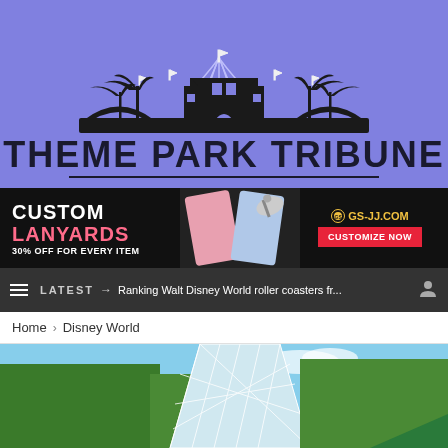[Figure (logo): Theme Park Tribune logo with silhouette of a theme park skyline (castle, palm trees, roller coaster arches, fireworks) on purple background, with bold text 'THEME PARK TRIBUNE']
[Figure (infographic): Advertisement banner for GS-JJ.com: 'CUSTOM LANYARDS 30% OFF FOR EVERY ITEM' with pink/salmon colored text, image of lanyards and scissors, and a red 'CUSTOMIZE NOW' button]
≡  LATEST → Ranking Walt Disney World roller coasters fr...  👤
Home > Disney World
[Figure (photo): Photo of Walt Disney World showing a large geodesic/triangular glass structure (EPCOT Spaceship Earth or pavilion) surrounded by green trees against a blue sky, with a green tent/umbrella visible in the lower right corner]